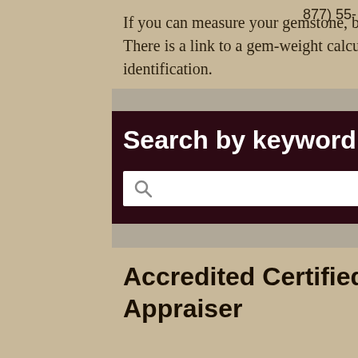If you can measure your gemstone, be sure to visit "Antique and Collectible Jewelry" posts page. There is a link to a gem-weight calculator from dendritics at the bottom of the page about gem identification.
Search by keyword
Accredited Certified Appraiser